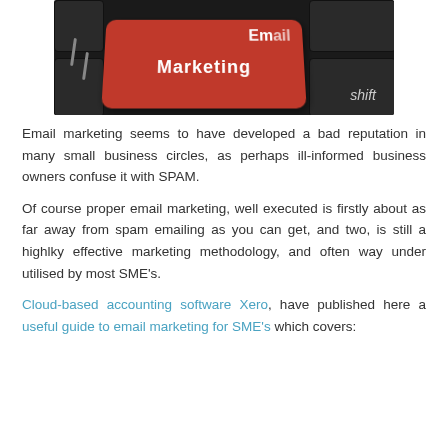[Figure (photo): A keyboard with a red 'Email Marketing' key, with a 'shift' label visible in the bottom-right corner. Keys are dark/black colored.]
Email marketing seems to have developed a bad reputation in many small business circles, as perhaps ill-informed business owners confuse it with SPAM.
Of course proper email marketing, well executed is firstly about as far away from spam emailing as you can get, and two, is still a highlky effective marketing methodology, and often way under utilised by most SME’s.
Cloud-based accounting software Xero, have published here a useful guide to email marketing for SME’s which covers: